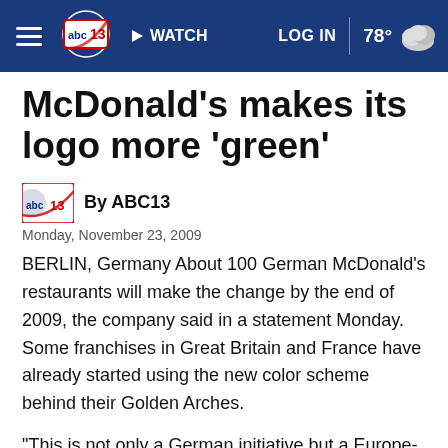abc13 | WATCH | LOG IN | 78°
McDonald's makes its logo more 'green'
By ABC13
Monday, November 23, 2009
BERLIN, Germany About 100 German McDonald's restaurants will make the change by the end of 2009, the company said in a statement Monday. Some franchises in Great Britain and France have already started using the new color scheme behind their Golden Arches.
"This is not only a German initiative but a Europe-wide initiative," Martin Nowicki, McDonald's Germany...